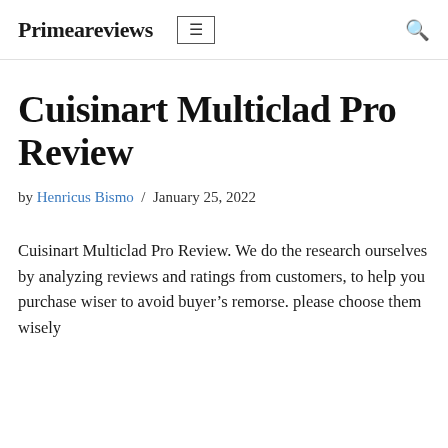Primeareviews
Cuisinart Multiclad Pro Review
by Henricus Bismo / January 25, 2022
Cuisinart Multiclad Pro Review. We do the research ourselves by analyzing reviews and ratings from customers, to help you purchase wiser to avoid buyer’s remorse. please choose them wisely